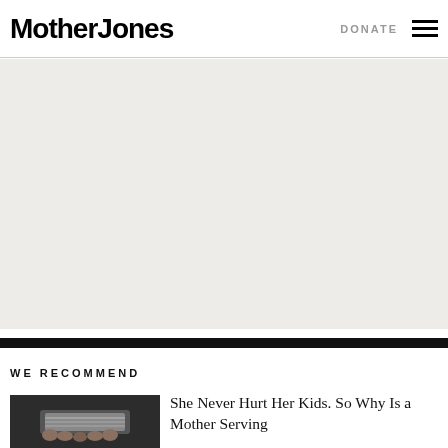Mother Jones  DONATE
[Figure (other): Advertisement placeholder area with light beige/grey background]
WE RECOMMEND
[Figure (photo): Thumbnail photo showing hands holding what appears to be a card or phone, dark background]
She Never Hurt Her Kids. So Why Is a Mother Serving